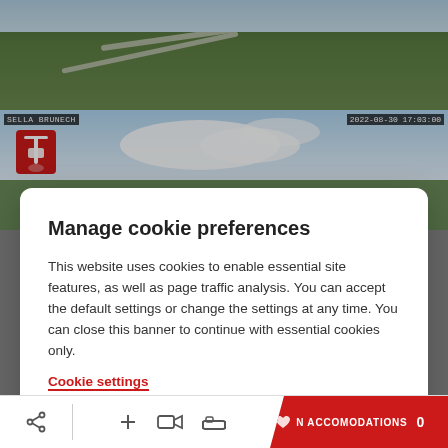[Figure (screenshot): Aerial webcam view of green hillside with road]
[Figure (screenshot): Webcam view labeled SELLA BRUNECH with timestamp 2022-08-30 17:03:00, showing sky with clouds and green ground, with a ski lift logo]
Manage cookie preferences
This website uses cookies to enable essential site features, as well as page traffic analysis. You can accept the default settings or change the settings at any time. You can close this banner to continue with essential cookies only.
Cookie settings
Accept all
Reject
[Figure (screenshot): Bottom toolbar with share icon, plus, video camera, and bed icons, and a red N ACCOMODATIONS 0 button]